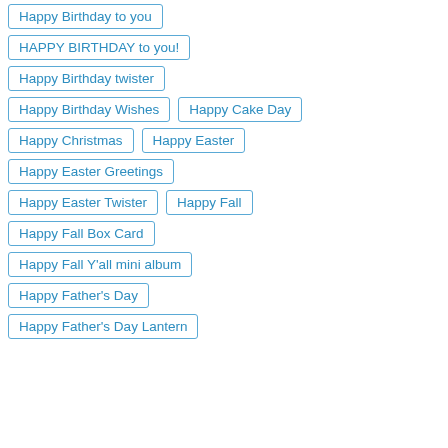Happy Birthday to you
HAPPY BIRTHDAY to you!
Happy Birthday twister
Happy Birthday Wishes
Happy Cake Day
Happy Christmas
Happy Easter
Happy Easter Greetings
Happy Easter Twister
Happy Fall
Happy Fall Box Card
Happy Fall Y'all mini album
Happy Father's Day
Happy Father's Day Lantern